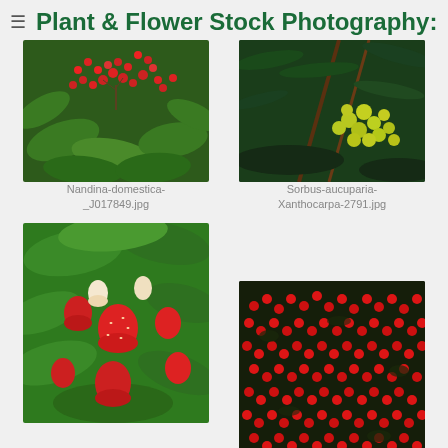Plant & Flower Stock Photography:
[Figure (photo): Nandina domestica plant with clusters of red berries and green leaves]
Nandina-domestica-_J017849.jpg
[Figure (photo): Sorbus aucuparia Xanthocarpa with yellow/green berries on dark green fern-like foliage]
Sorbus-aucuparia-Xanthocarpa-2791.jpg
[Figure (photo): Fragaria Quinault strawberry plant with ripe and unripe strawberries among green leaves]
Fragaria-Quinault-Strawberry-24165.jpg
[Figure (photo): Cotoneaster horizontalis shrub densely covered with small red berries on dark foliage]
Cotoneaster-horizontalis-3032.jpg